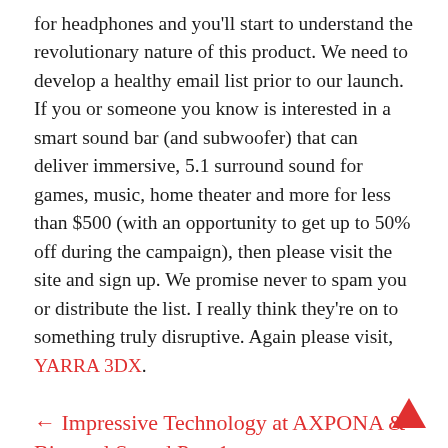for headphones and you'll start to understand the revolutionary nature of this product. We need to develop a healthy email list prior to our launch. If you or someone you know is interested in a smart sound bar (and subwoofer) that can deliver immersive, 5.1 surround sound for games, music, home theater and more for less than $500 (with an opportunity to get up to 50% off during the campaign), then please visit the site and sign up. We promise never to spam you or distribute the list. I really think they're on to something truly disruptive. Again please visit, YARRA 3DX.
(Visited 1,469 times)
← Impressive Technology at AXPONA & Binaural Sound Part 1